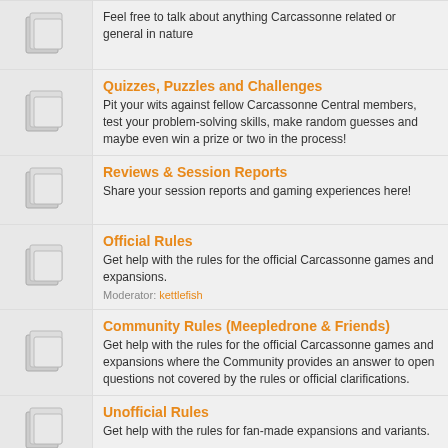Feel free to talk about anything Carcassonne related or general in nature
Quizzes, Puzzles and Challenges — Pit your wits against fellow Carcassonne Central members, test your problem-solving skills, make random guesses and maybe even win a prize or two in the process!
Reviews & Session Reports — Share your session reports and gaming experiences here!
Official Rules — Get help with the rules for the official Carcassonne games and expansions. Moderator: kettlefish
Community Rules (Meepledrone & Friends) — Get help with the rules for the official Carcassonne games and expansions where the Community provides an answer to open questions not covered by the rules or official clarifications.
Unofficial Rules — Get help with the rules for fan-made expansions and variants.
Strategy Guide — Post your strategic hints and other tips, or discuss those posted by others.
The Marketplace